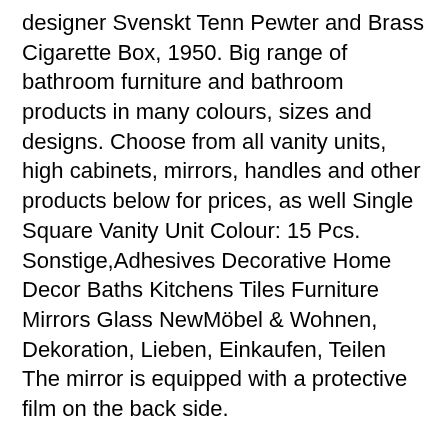designer Svenskt Tenn Pewter and Brass Cigarette Box, 1950. Big range of bathroom furniture and bathroom products in many colours, sizes and designs. Choose from all vanity units, high cabinets, mirrors, handles and other products below for prices, as well Single Square Vanity Unit Colour: 15 Pcs. Sonstige,Adhesives Decorative Home Decor Baths Kitchens Tiles Furniture Mirrors Glass NewMöbel & Wohnen, Dekoration, Lieben, Einkaufen, Teilen  The mirror is equipped with a protective film on the back side.
At Furniturebox we love home interiors and we would love to see yours! Maybe you have bought a new modern kitchen dining set or some contemporary living room furniture?
Stockwatch youtube